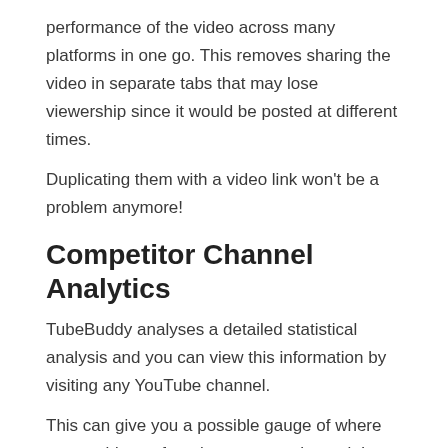performance of the video across many platforms in one go. This removes sharing the video in separate tabs that may lose viewership since it would be posted at different times.
Duplicating them with a video link won't be a problem anymore!
Competitor Channel Analytics
TubeBuddy analyses a detailed statistical analysis and you can view this information by visiting any YouTube channel.
This can give you a possible gauge of where you could start from in your own channel. It displays the channel's keywords and views as well as the videos that have been uploaded in the last 30 days.
Bulk Processing
When your channel has so much content you can't keep up with, TubeBuddy makes it manageable. From videos, cards, and end